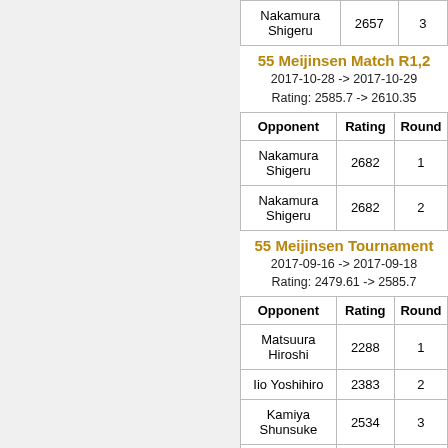| Opponent | Rating | Round |
| --- | --- | --- |
| Nakamura Shigeru | 2657 | 3 |
55 Meijinsen Match R1,2
2017-10-28 -> 2017-10-29
Rating: 2585.7 -> 2610.35
| Opponent | Rating | Round |
| --- | --- | --- |
| Nakamura Shigeru | 2682 | 1 |
| Nakamura Shigeru | 2682 | 2 |
55 Meijinsen Tournament
2017-09-16 -> 2017-09-18
Rating: 2479.61 -> 2585.7
| Opponent | Rating | Round |
| --- | --- | --- |
| Matsuura Hiroshi | 2288 | 1 |
| Iio Yoshihiro | 2383 | 2 |
| Kamiya Shunsuke | 2534 | 3 |
| Maruyama Yasushi | 2152 | 4 |
| Sato Kiyotomi | 2330 | 5 |